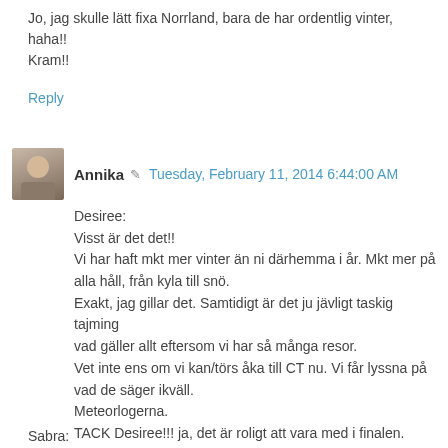Jo, jag skulle lätt fixa Norrland, bara de har ordentlig vinter, haha!!
Kram!!
Reply
Annika  Tuesday, February 11, 2014 6:44:00 AM
Desiree:
Visst är det det!!
Vi har haft mkt mer vinter än ni därhemma i år. Mkt mer på alla håll, från kyla till snö.
Exakt, jag gillar det. Samtidigt är det ju jävligt taskig tajming vad gäller allt eftersom vi har så många resor.
Vet inte ens om vi kan/törs åka till CT nu. Vi får lyssna på vad de säger ikväll.
Meteorlogerna.
TACK Desiree!!! ja, det är roligt att vara med i finalen. Sporrande också!
Kramar!!!!
Sabra: